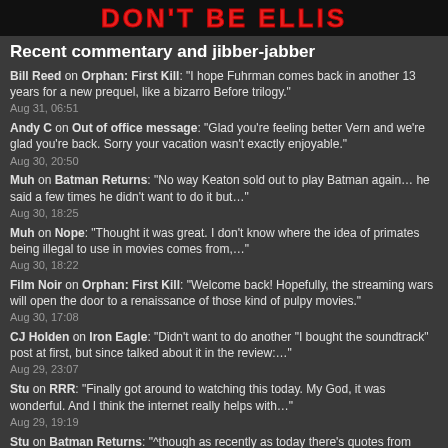[Figure (logo): DON'T BE ELLIS banner logo with red text on black background]
Recent commentary and jibber-jabber
Bill Reed on Orphan: First Kill: "I hope Fuhrman comes back in another 13 years for a new prequel, like a bizarro Before trilogy." Aug 31, 06:51
Andy C on Out of office message: "Glad you're feeling better Vern and we're glad you're back. Sorry your vacation wasn't exactly enjoyable." Aug 30, 20:50
Muh on Batman Returns: "No way Keaton sold out to play Batman again… he said a few times he didn't want to do it but…" Aug 30, 18:25
Muh on Nope: "Thought it was great. I don't know where the idea of primates being illegal to use in movies comes from,…" Aug 30, 18:22
Film Noir on Orphan: First Kill: "Welcome back! Hopefully, the streaming wars will open the door to a renaissance of those kind of pulpy movies." Aug 30, 17:08
CJ Holden on Iron Eagle: "Didn't want to do another "I bought the soundtrack" post at first, but since talked about it in the review:…" Aug 29, 23:07
Stu on RRR: "Finally got around to watching this today. My God, it was wonderful. And I think the internet really helps with…" Aug 29, 19:19
Stu on Batman Returns: "^though as recently as today there's quotes from Momoa hinting at possibly multiple Batmen in the movie" Aug 29, 18:07